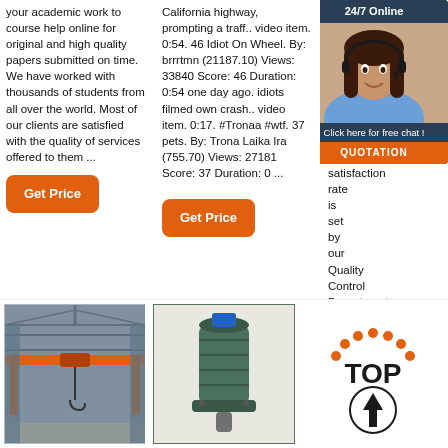your academic work to course help online for original and high quality papers submitted on time. We have worked with thousands of students from all over the world. Most of our clients are satisfied with the quality of services offered to them ...
California highway, prompting a traff.. video item. 0:54. 46 Idiot On Wheel. By: brrrtmn (21187.10) Views: 33840 Score: 46 Duration: 0:54 one day ago. idiots filmed own crash.. video item. 0:17. #Tronaa #wtf. 37 pets. By: Trona Laika Ira (755.70) Views: 27181 Score: 37 Duration: 0 ...
essay writing service is 8.5 out of 10. The high satisfaction rate is set by our Quality Control Department, which ch papers submiss check in Complia initial or Plagiari: referenc
[Figure (screenshot): Chat widget overlay showing 24/7 Online header, woman with headset, Click here for free chat!, and QUOTATION button]
[Figure (photo): Industrial crane inside warehouse building with orange overhead crane]
[Figure (photo): Industrial motor or pump equipment, teal/green colored]
[Figure (logo): TOP arrow logo with dotted circle arc and upward arrow circle icon in orange and dark colors]